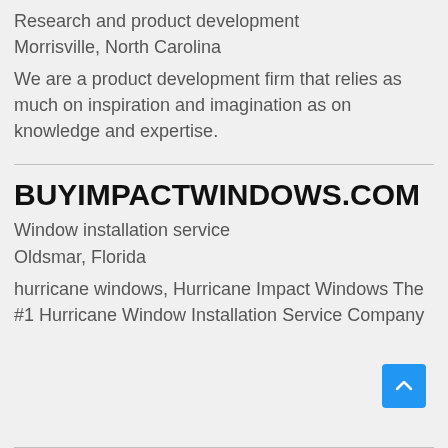Research and product development
Morrisville, North Carolina
We are a product development firm that relies as much on inspiration and imagination as on knowledge and expertise.
BUYIMPACTWINDOWS.COM
Window installation service
Oldsmar, Florida
hurricane windows, Hurricane Impact Windows The #1 Hurricane Window Installation Service Company